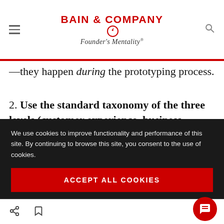BAIN & COMPANY Founder's Mentality®
—they happen during the prototyping process.
2. Use the standard taxonomy of the three levels (customer experience, business process and technology) to address common scaling issues from Day 1. By anticipating demands to change business processes and support new
We use cookies to improve functionality and performance of this site. By continuing to browse this site, you consent to the use of cookies.
ACCEPT ALL COOKIES